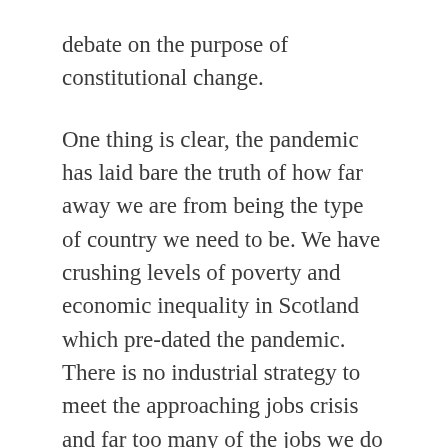debate on the purpose of constitutional change.
One thing is clear, the pandemic has laid bare the truth of how far away we are from being the type of country we need to be. We have crushing levels of poverty and economic inequality in Scotland which pre-dated the pandemic. There is no industrial strategy to meet the approaching jobs crisis and far too many of the jobs we do have are low paid and precarious. Our system of social care is not fit for purpose and Scotland is the drugs death capital of Europe. As a response